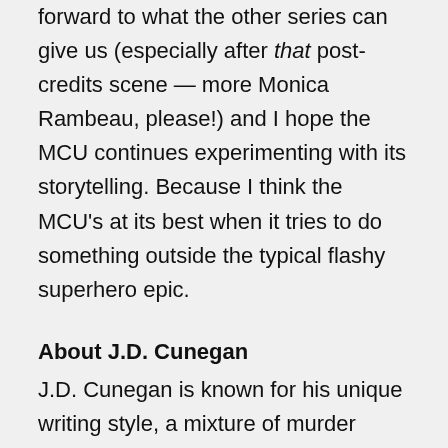forward to what the other series can give us (especially after that post-credits scene — more Monica Rambeau, please!) and I hope the MCU continues experimenting with its storytelling. Because I think the MCU's at its best when it tries to do something outside the typical flashy superhero epic.
About J.D. Cunegan
J.D. Cunegan is known for his unique writing style, a mixture of murder mystery and superhero epic that introduces the reader to his comic book-inspired storytelling and fast-paced prose. A 2006 graduate of Old Dominion University, Cunegan has an extensive background in journalism, a lengthy career in media relations, and a lifelong love for writing. Cunegan lives in Hampton, Virginia, and next to books and art, his big passion in life in auto racing. When not hunched in front